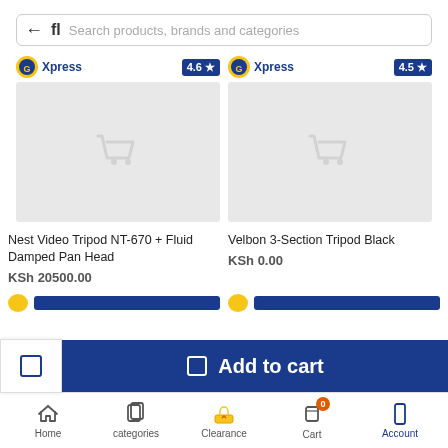Search products, brands and categories
[Figure (screenshot): Two product cards with Xpress logos and ratings: (1) Nest Video Tripod NT-670 + Fluid Damped Pan Head rated 4.6, KSh 20500.00; (2) Velbon 3-Section Tripod Black rated 4.5, KSh 0.00]
Nest Video Tripod NT-670 + Fluid Damped Pan Head
KSh 20500.00
Velbon 3-Section Tripod Black
KSh 0.00
Add to cart
Home
categories
Clearance
Cart
Account